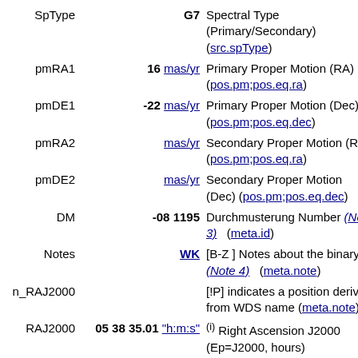| Field | Value | Description |
| --- | --- | --- |
| SpType | G7 | Spectral Type (Primary/Secondary) (src.spType) |
| pmRA1 | 16 mas/yr | Primary Proper Motion (RA) (pos.pm;pos.eq.ra) |
| pmDE1 | -22 mas/yr | Primary Proper Motion (Dec) (pos.pm;pos.eq.dec) |
| pmRA2 | mas/yr | Secondary Proper Motion (RA) (pos.pm;pos.eq.ra) |
| pmDE2 | mas/yr | Secondary Proper Motion (Dec) (pos.pm;pos.eq.dec) |
| DM | -08 1195 | Durchmusterung Number (Note 3) (meta.id) |
| Notes | WK | [B-Z ] Notes about the binary (Note 4) (meta.note) |
| n_RAJ2000 |  | [!P] indicates a position derived from WDS name (meta.note) |
| RAJ2000 | 05 38 35.01 "h:m:s" | (i) Right Ascension J2000 (Ep=J2000, hours) (pos.eq.ra;meta.main) |
| DEJ2000 | -08 56 40.5 "d:m:s" | (i) Declination J2000 (Ep=J2000, degrees) |